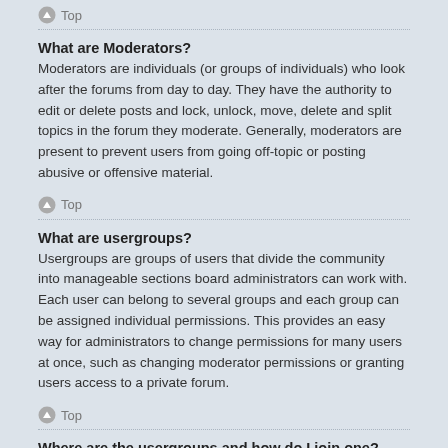Top
What are Moderators?
Moderators are individuals (or groups of individuals) who look after the forums from day to day. They have the authority to edit or delete posts and lock, unlock, move, delete and split topics in the forum they moderate. Generally, moderators are present to prevent users from going off-topic or posting abusive or offensive material.
Top
What are usergroups?
Usergroups are groups of users that divide the community into manageable sections board administrators can work with. Each user can belong to several groups and each group can be assigned individual permissions. This provides an easy way for administrators to change permissions for many users at once, such as changing moderator permissions or granting users access to a private forum.
Top
Where are the usergroups and how do I join one?
You can view all usergroups via the “Usergroups” link within your User Control Panel. If you would like to join one, proceed by clicking the appropriate button. Not all groups have open access, however. Some may require approval to join, some may be closed and some may even be hidden.